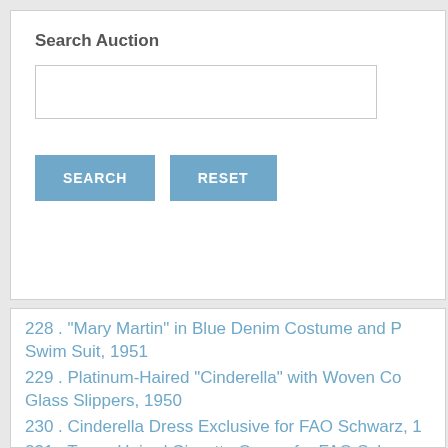Search Auction
SEARCH  RESET
228 . "Mary Martin" in Blue Denim Costume and P Swim Suit, 1951
229 . Platinum-Haired "Cinderella" with Woven Co Glass Slippers, 1950
230 . Cinderella Dress Exclusive for FAO Schwarz, 1
231 . Tosca-Haired Cissette Queen for FAO Schwar Box, 1957